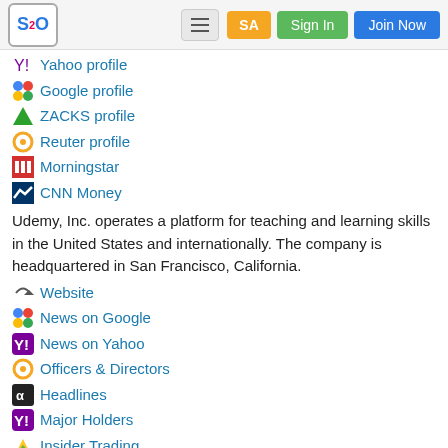S2O | SA | Sign In | Join Now
Yahoo profile
Google profile
ZACKS profile
Reuter profile
Morningstar
CNN Money
Udemy, Inc. operates a platform for teaching and learning skills in the United States and internationally. The company is headquartered in San Francisco, California.
Website
News on Google
News on Yahoo
Officers & Directors
Headlines
Major Holders
Insider Trading
Recent News
Benzinga - 4d  Udemy Expands In APAC Region Via Partnership With Vietnam's FUNiX Platform